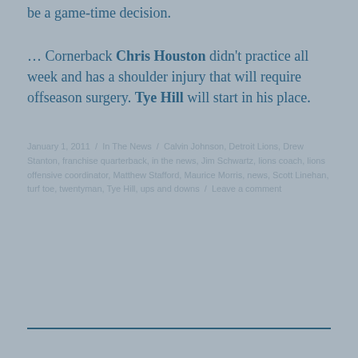be a game-time decision.
… Cornerback Chris Houston didn't practice all week and has a shoulder injury that will require offseason surgery. Tye Hill will start in his place.
January 1, 2011 / In The News / Calvin Johnson, Detroit Lions, Drew Stanton, franchise quarterback, in the news, Jim Schwartz, lions coach, lions offensive coordinator, Matthew Stafford, Maurice Morris, news, Scott Linehan, turf toe, twentyman, Tye Hill, ups and downs / Leave a comment